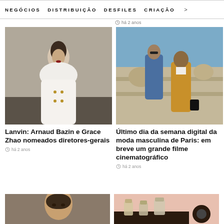NEGÓCIOS   DISTRIBUIÇÃO   DESFILES   CRIAÇÃO   >
há 2 anos
[Figure (photo): Fashion model wearing white fur-collar coat on runway]
[Figure (photo): Two male models in vintage-style suits posing outdoors]
Lanvin: Arnaud Bazin e Grace Zhao nomeados diretores-gerais
Último dia da semana digital da moda masculina de Paris: em breve um grande filme cinematográfico
há 2 anos
há 2 anos
[Figure (photo): Close-up of male model with long hair]
[Figure (photo): Perfume bottles on pink background]